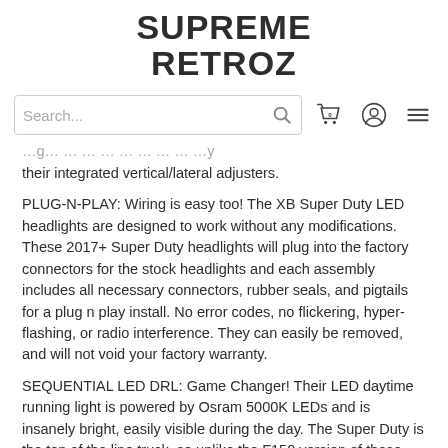[Figure (logo): Supreme Retroz logo in bold uppercase black text]
[Figure (screenshot): Website navigation bar with search input, search button, cart icon (0), user icon, and hamburger menu icon]
their integrated vertical/lateral adjusters.
PLUG-N-PLAY: Wiring is easy too! The XB Super Duty LED headlights are designed to work without any modifications. These 2017+ Super Duty headlights will plug into the factory connectors for the stock headlights and each assembly includes all necessary connectors, rubber seals, and pigtails for a plug n play install. No error codes, no flickering, hyper-flashing, or radio interference. They can easily be removed, and will not void your factory warranty.
SEQUENTIAL LED DRL: Game Changer! Their LED daytime running light is powered by Osram 5000K LEDs and is insanely bright, easily visible during the day. The Super Duty is the top of the line truck, so unlike the F150 version of these headlights – these have a FULL sequential turn signal. A parallel row of amber LED's encompasses the entire surface area of the white DRL, and when activated – runs in sequence towards the outer